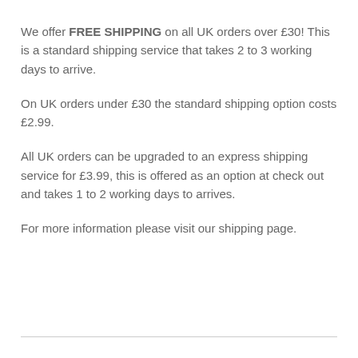We offer FREE SHIPPING on all UK orders over £30! This is a standard shipping service that takes 2 to 3 working days to arrive.
On UK orders under £30 the standard shipping option costs £2.99.
All UK orders can be upgraded to an express shipping service for £3.99, this is offered as an option at check out and takes 1 to 2 working days to arrives.
For more information please visit our shipping page.